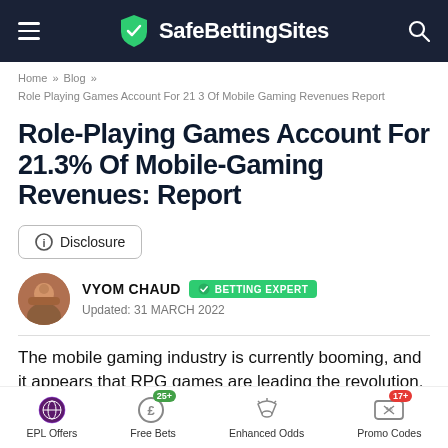SafeBettingSites
Home » Blog » Role Playing Games Account For 21 3 Of Mobile Gaming Revenues Report
Role-Playing Games Account For 21.3% Of Mobile-Gaming Revenues: Report
Disclosure
VYOM CHAUD   BETTING EXPERT
Updated: 31 MARCH 2022
The mobile gaming industry is currently booming, and it appears that RPG games are leading the revolution.
EPL Offers   Free Bets 25+   Enhanced Odds   Promo Codes 17+